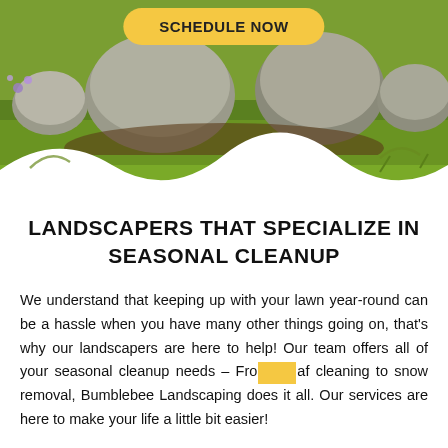[Figure (photo): Landscaped garden with large rocks, green grass, and flowering plants. Yellow 'SCHEDULE NOW' button overlaid at top center. White wave-shaped divider at the bottom of the image.]
LANDSCAPERS THAT SPECIALIZE IN SEASONAL CLEANUP
We understand that keeping up with your lawn year-round can be a hassle when you have many other things going on, that's why our landscapers are here to help! Our team offers all of your seasonal cleanup needs – From leaf cleaning to snow removal, Bumblebee Landscaping does it all. Our services are here to make your life a little bit easier!